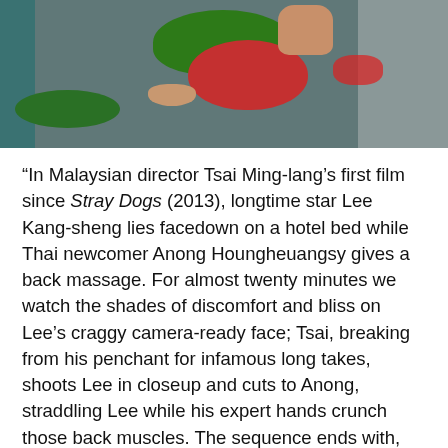[Figure (photo): Photo of a person handling green herbs or vegetables in a red bowl on a tiled floor, with a green plate and gray items nearby]
“In Malaysian director Tsai Ming-lang’s first film since Stray Dogs (2013), longtime star Lee Kang-sheng lies facedown on a hotel bed while Thai newcomer Anong Houngheuangsy gives a back massage. For almost twenty minutes we watch the shades of discomfort and bliss on Lee’s craggy camera-ready face; Tsai, breaking from his penchant for infamous long takes, shoots Lee in closeup and cuts to Anong, straddling Lee while his expert hands crunch those back muscles. The sequence ends with, well, a happy ending….Although Days sounds like a film of unrelenting bleakness, Tsai suggests that the activities with which his characters keep loneliness at bay give